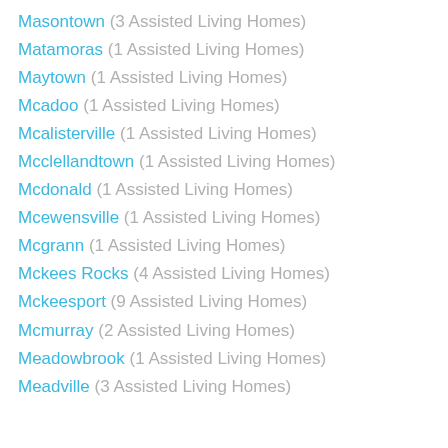Masontown  (3 Assisted Living Homes)
Matamoras  (1 Assisted Living Homes)
Maytown  (1 Assisted Living Homes)
Mcadoo  (1 Assisted Living Homes)
Mcalisterville  (1 Assisted Living Homes)
Mcclellandtown  (1 Assisted Living Homes)
Mcdonald  (1 Assisted Living Homes)
Mcewensville  (1 Assisted Living Homes)
Mcgrann  (1 Assisted Living Homes)
Mckees Rocks  (4 Assisted Living Homes)
Mckeesport  (9 Assisted Living Homes)
Mcmurray  (2 Assisted Living Homes)
Meadowbrook  (1 Assisted Living Homes)
Meadville  (3 Assisted Living Homes)